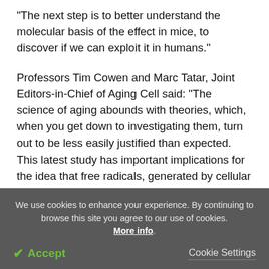"The next step is to better understand the molecular basis of the effect in mice, to discover if we can exploit it in humans."
Professors Tim Cowen and Marc Tatar, Joint Editors-in-Chief of Aging Cell said: "The science of aging abounds with theories, which, when you get down to investigating them, turn out to be less easily justified than expected. This latest study has important implications for the idea that free radicals, generated by cellular metabolism, are key determinants of lifespan."
We use cookies to enhance your experience. By continuing to browse this site you agree to our use of cookies. More info.